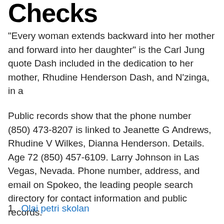Checks
“Every woman extends backward into her mother and forward into her daughter” is the Carl Jung quote Dash included in the dedication to her mother, Rhudine Henderson Dash, and N’zinga, in a
Public records show that the phone number (850) 473-8207 is linked to Jeanette G Andrews, Rhudine V Wilkes, Dianna Henderson. Details. Age 72 (850) 457-6109. Larry Johnson in Las Vegas, Nevada. Phone number, address, and email on Spokeo, the leading people search directory for contact information and public records.
1. Olai petri skolan